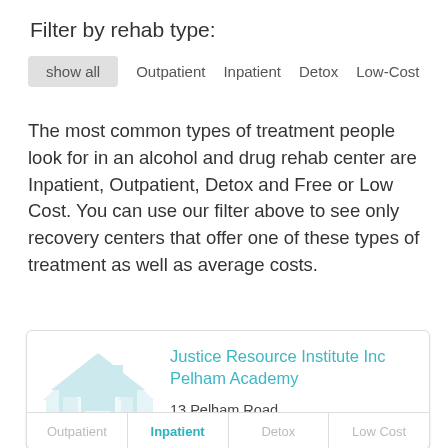Filter by rehab type:
show all | Outpatient | Inpatient | Detox | Low-Cost
The most common types of treatment people look for in an alcohol and drug rehab center are Inpatient, Outpatient, Detox and Free or Low Cost. You can use our filter above to see only recovery centers that offer one of these types of treatment as well as average costs.
Justice Resource Institute Inc Pelham Academy
13 Pelham Road
Lexington, MA 2421
781-274-6800
Outpatient | Inpatient | Detox | Low Cost